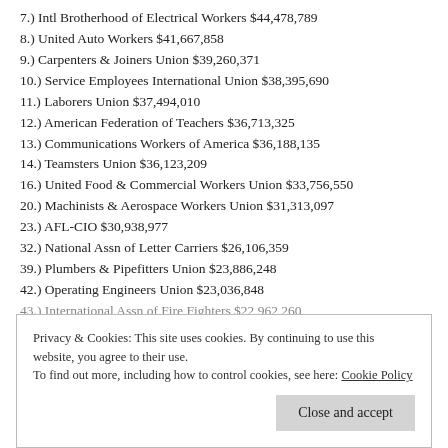7.) Intl Brotherhood of Electrical Workers $44,478,789
8.) United Auto Workers $41,667,858
9.) Carpenters & Joiners Union $39,260,371
10.) Service Employees International Union $38,395,690
11.) Laborers Union $37,494,010
12.) American Federation of Teachers $36,713,325
13.) Communications Workers of America $36,188,135
14.) Teamsters Union $36,123,209
16.) United Food & Commercial Workers Union $33,756,550
20.) Machinists & Aerospace Workers Union $31,313,097
23.) AFL-CIO $30,938,977
32.) National Assn of Letter Carriers $26,106,359
39.) Plumbers & Pipefitters Union $23,886,248
42.) Operating Engineers Union $23,036,848
43.) International Assn of Fire Fighters $22,962,260
Privacy & Cookies: This site uses cookies. By continuing to use this website, you agree to their use. To find out more, including how to control cookies, see here: Cookie Policy
Close and accept